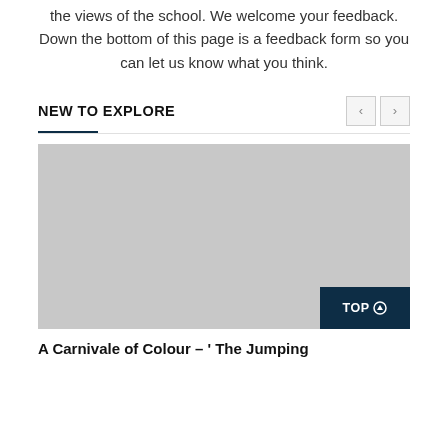the views of the school. We welcome your feedback. Down the bottom of this page is a feedback form so you can let us know what you think.
NEW TO EXPLORE
[Figure (photo): Placeholder grey image for a card thumbnail]
A Carnivale of Colour – ' The Jumping